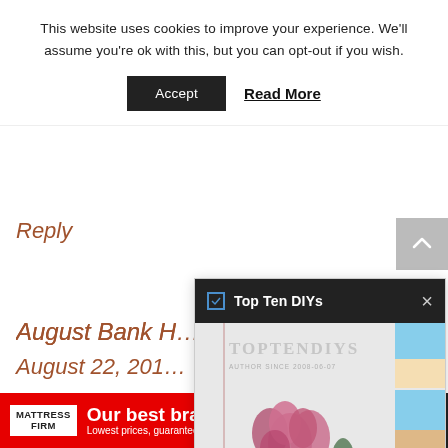This website uses cookies to improve your experience. We'll assume you're ok with this, but you can opt-out if you wish.
Accept   Read More
Reply
August Bank H...
August 22, 201...
This is such a lo...
sharing.
[Figure (screenshot): Top Ten DIYs popup widget showing logo, flower photo, and side image thumbnails]
[Figure (screenshot): Mattress Firm advertisement banner with text 'Our best brands. Lowest prices, guaranteed.']